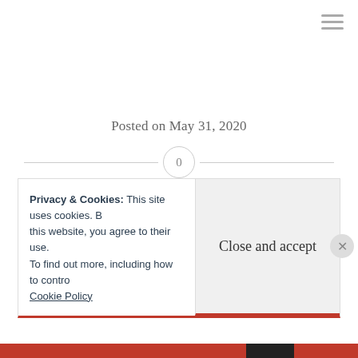[Figure (other): Hamburger menu icon (three horizontal lines) in top right corner]
Posted on May 31, 2020
[Figure (other): Horizontal divider line with a circle containing the number 0 in the center]
Privacy & Cookies: This site uses cookies. By continuing to use this website, you agree to their use. To find out more, including how to control cookies, see here: Cookie Policy
Close and accept